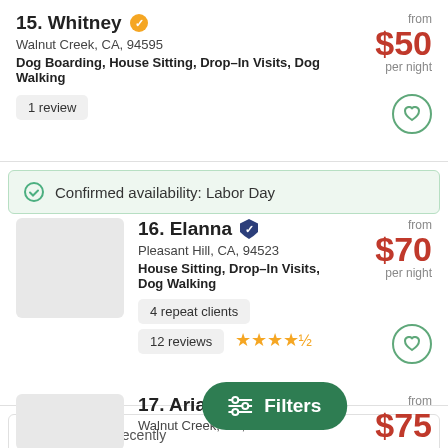15. Whitney [badge] — Walnut Creek, CA, 94595 — Dog Boarding, House Sitting, Drop–In Visits, Dog Walking — from $50 per night — 1 review
Confirmed availability: Labor Day
16. Elanna [badge] — Pleasant Hill, CA, 94523 — House Sitting, Drop–In Visits, Dog Walking — from $70 per night — 4 repeat clients — 12 reviews ★★★★½
Calendar Recently...
17. Arianna [badge] — Walnut Creek, CA, 94596 — from $75
Filters